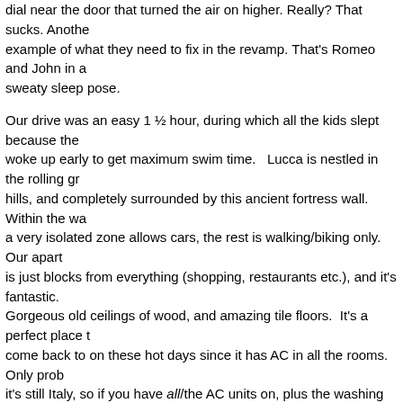dial near the door that turned the air on higher.  Really? That sucks.  Another example of what they need to fix in the revamp. That's Romeo and John in a sweaty sleep pose.
Our drive was an easy 1 ½ hour, during which all the kids slept because they woke up early to get maximum swim time.   Lucca is nestled in the rolling green hills, and completely surrounded by this ancient fortress wall.  Within the walls, a very isolated zone allows cars, the rest is walking/biking only.    Our apartment is just blocks from everything (shopping, restaurants etc.), and it's fantastic.  Gorgeous old ceilings of wood, and amazing tile floors.  It's a perfect place to come back to on these hot days since it has AC in all the rooms.  Only prob…it's still Italy, so if you have all/the AC units on, plus the washing machine, and some other electronics, you are going to blow a fuse.  We've done it twice already.
We strolled around late afternoon and stumbled upon this kitchen store with fantastic plates that we fell in love with.  The problem is they are heavy, and Shipping is crazy expensive, so we are trying to decide how we can bring home 24 dinner plates and 24 salad plates as carry on.  It's quite the dilemma…but these are amazing plates, how can we NOT get them?  They were fantastic colors (we'd get a combo of 4 colors probably), and they would be so much…I feel like we've had white plates for far too long, maybe it's time to change it up.
I love little Lucca so far.  It's darling in every way, and I am so excited we get